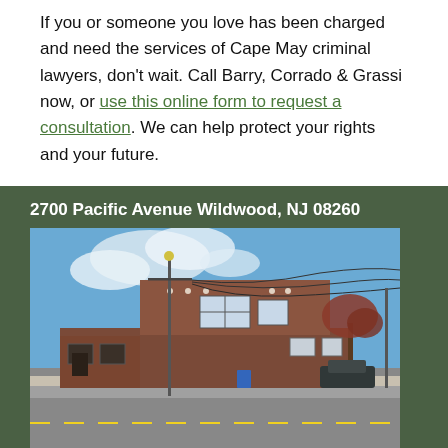If you or someone you love has been charged and need the services of Cape May criminal lawyers, don't wait. Call Barry, Corrado & Grassi now, or use this online form to request a consultation. We can help protect your rights and your future.
2700 Pacific Avenue Wildwood, NJ 08260
[Figure (photo): Exterior photo of a two-story brick building at 2700 Pacific Avenue Wildwood NJ, street corner view with utility poles and wires, blue recycling bin on sidewalk, tree with fall foliage visible at right, clear blue sky with clouds]
Phone: (609) 729-1333